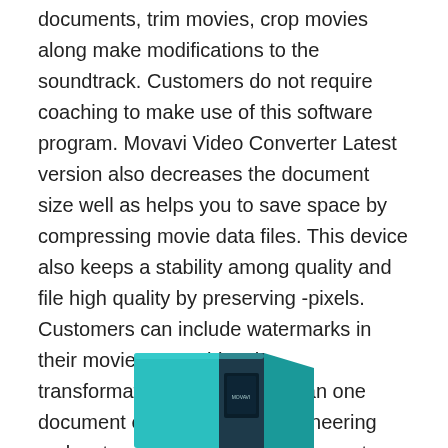documents, trim movies, crop movies along make modifications to the soundtrack. Customers do not require coaching to make use of this software program. Movavi Video Converter Latest version also decreases the document size well as helps you to save space by compressing movie data files. This device also keeps a stability among quality and file high quality by preserving -pixels. Customers can include watermarks in their movies. It enables the transformation of a lot more than one document each time. This engineering makes transforming media documents along with fast and just reproduction.
[Figure (photo): Partial view of a teal/blue software product box at the bottom of the page]